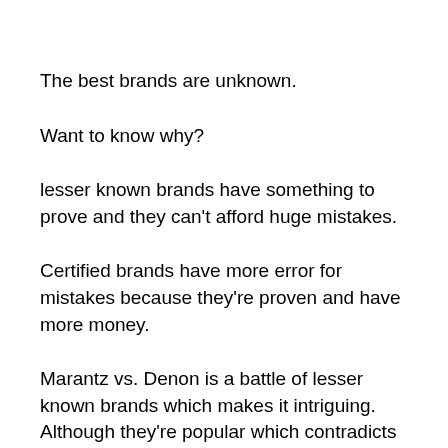The best brands are unknown.
Want to know why?
lesser known brands have something to prove and they can’t afford huge mistakes.
Certified brands have more error for mistakes because they’re proven and have more money.
Marantz vs. Denon is a battle of lesser known brands which makes it intriguing. Although they’re popular which contradicts everything we said, certified brands...